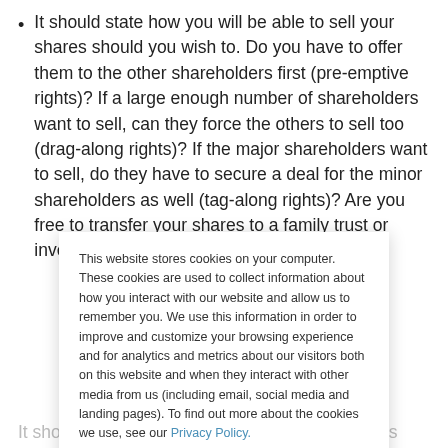It should state how you will be able to sell your shares should you wish to. Do you have to offer them to the other shareholders first (pre-emptive rights)? If a large enough number of shareholders want to sell, can they force the others to sell too (drag-along rights)? If the major shareholders want to sell, do they have to secure a deal for the minor shareholders as well (tag-along rights)? Are you free to transfer your shares to a family trust or investment company?
It should deal with funding. If the company needs
This website stores cookies on your computer. These cookies are used to collect information about how you interact with our website and allow us to remember you. We use this information in order to improve and customize your browsing experience and for analytics and metrics about our visitors both on this website and when they interact with other media from us (including email, social media and landing pages). To find out more about the cookies we use, see our Privacy Policy.